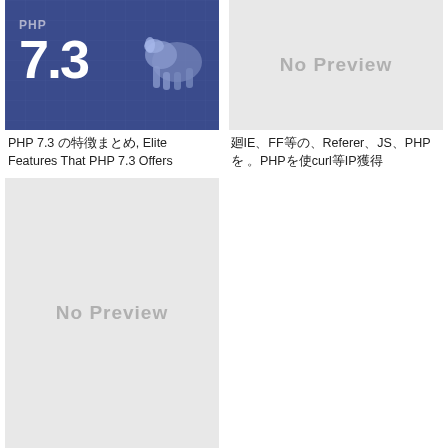[Figure (screenshot): PHP 7.3 logo image with blue/dark background showing number 7.3]
[Figure (photo): No Preview placeholder image (light gray)]
PHP 7.3 の特徴まとめ, Elite Features That PHP 7.3 Offers
廻IE、FF等の、Referer、JS、PHPを 。PHPを使curl等IP獲得
[Figure (photo): No Preview placeholder image (light gray, large)]
php gizp等を開発js、css等を – PHP
ALSO ON IKEEPSTUDYING
[Figure (screenshot): IDEA 2020.3.x crack tool advertisement in Chinese, with colorful text]
[Figure (screenshot): Photoshop 2020 by TNT installation screenshot showing 21% progress]